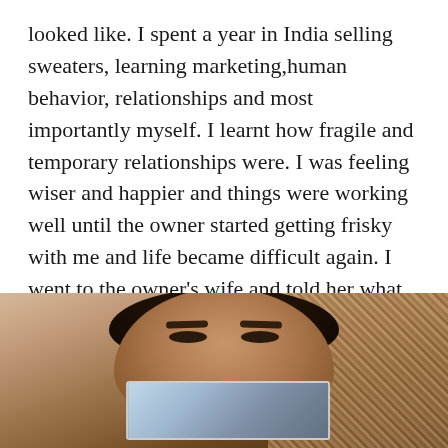looked like. I spent a year in India selling sweaters, learning marketing,human behavior, relationships and most importantly myself. I learnt how fragile and temporary relationships were. I was feeling wiser and happier and things were working well until the owner started getting frisky with me and life became difficult again. I went to the owner’s wife and told her what was going on, for a change,she was actually a nice person. She bought me my tickets back to Nepal and helped me out. It was the first time in my life where I was taking my decisions, doing things I liked and stayed away from what I did not like.
[Figure (photo): A person (woman) photographed from approximately mid-face up, holding a photograph or card in front of the lower part of their face. Dark hair, warm skin tone. Wicker/rattan texture visible in background on the right side.]